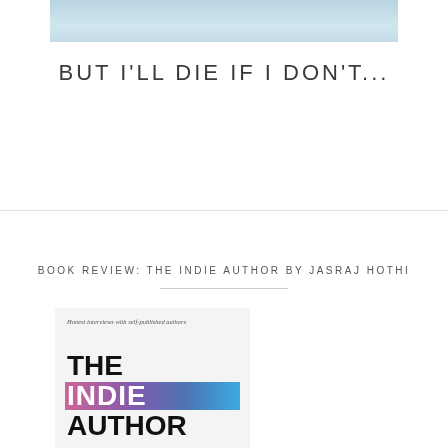[Figure (photo): Partial photo strip at top of first article section]
BUT I'LL DIE IF I DON'T...
BOOK REVIEW: THE INDIE AUTHOR BY JASRAJ HOTHI
[Figure (photo): Book cover of 'The Indie Author' by Jasraj Hothi. Shows the text 'Honest interviews with self-published authors' at top, followed by large bold text 'THE INDIE AUTHOR' with a colorful graffiti-style banner behind 'INDIE', and bottom text 'AUTHOR'.]